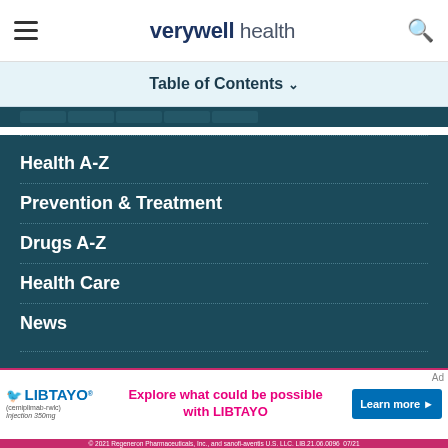verywell health
Table of Contents
Health A-Z
Prevention & Treatment
Drugs A-Z
Health Care
News
Meet Our Medical Expert Board
About Us
Editorial Process
Diversity Pledge
[Figure (screenshot): LIBTAYO (cemiplimab-rwlc) advertisement banner: 'Explore what could be possible with LIBTAYO' with Learn more button. © 2021 Regeneron Pharmaceuticals, Inc., and sanofi-aventis U.S. LLC. LIB.21.06.0096 07/21]